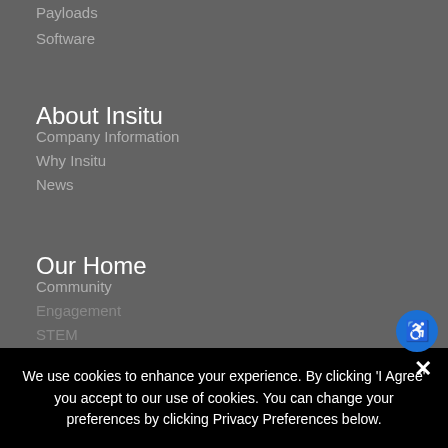Payloads
Software
About Insitu
Company Information
Why Insitu
News
Our Home
Community
Engagement
STEM
Working at Insitu
Current
Careers FAQ
Contact
General Inquiry
Customer Support
We use cookies to enhance your experience. By clicking 'I Agree' you accept to our use of cookies. You can change your preferences by clicking Privacy Preferences below.
Privacy Preferences
I Agree